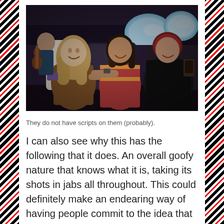[Figure (photo): Scene from a movie or TV show set inside a private jet. Three young women are sitting and laughing. One has long blonde hair and a brown strapless outfit, holding a purple object. The middle woman wears a striped top. The woman on the right has short red hair and a black top, holding a small device. A man in the background plays guitar. Airplane oval windows with blue sky visible behind them.]
They do not have scripts on them (probably).
I can also see why this has the following that it does. An overall goofy nature that knows what it is, taking its shots in jabs all throughout. This could definitely make an endearing way of having people commit to the idea that